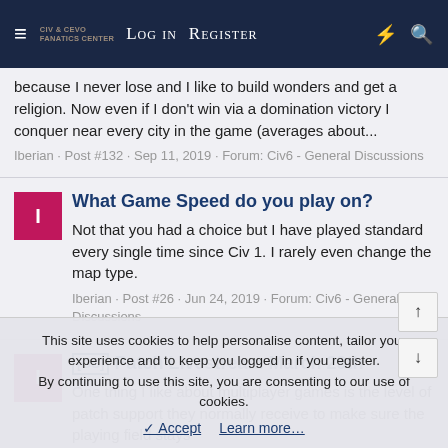≡  [Logo: Civ & Cevo Fanatics Center]  Log in  Register  ⚡  🔍
because I never lose and I like to build wonders and get a religion. Now even if I don't win via a domination victory I conquer near every city in the game (averages about...
Iberian · Post #132 · Sep 11, 2019 · Forum: Civ6 - General Discussions
What Game Speed do you play on?
Not that you had a choice but I have played standard every single time since Civ 1. I rarely even change the map type.
Iberian · Post #26 · Jun 24, 2019 · Forum: Civ6 - General Discussions
[GS] Patch Livestream March 29th
One thing I like about multiplayer games is the level of patch support they normally receive to make sure the playing field stays
This site uses cookies to help personalise content, tailor your experience and to keep you logged in if you register.
By continuing to use this site, you are consenting to our use of cookies.
✓ Accept   Learn more…